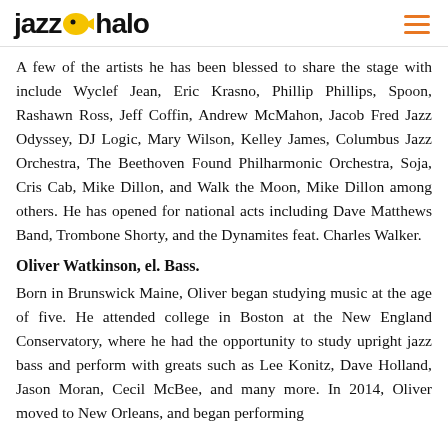jazz halo
A few of the artists he has been blessed to share the stage with include Wyclef Jean, Eric Krasno, Phillip Phillips, Spoon, Rashawn Ross, Jeff Coffin, Andrew McMahon, Jacob Fred Jazz Odyssey, DJ Logic, Mary Wilson, Kelley James, Columbus Jazz Orchestra, The Beethoven Found Philharmonic Orchestra, Soja, Cris Cab, Mike Dillon, and Walk the Moon, Mike Dillon among others. He has opened for national acts including Dave Matthews Band, Trombone Shorty, and the Dynamites feat. Charles Walker.
Oliver Watkinson, el. Bass.
Born in Brunswick Maine, Oliver began studying music at the age of five. He attended college in Boston at the New England Conservatory, where he had the opportunity to study upright jazz bass and perform with greats such as Lee Konitz, Dave Holland, Jason Moran, Cecil McBee, and many more. In 2014, Oliver moved to New Orleans, and began performing